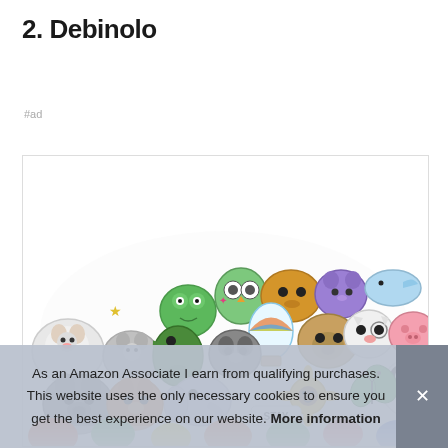2. Debinolo
#ad
[Figure (illustration): A colorful collection of cute cartoon animal stickers arranged in a semicircle/pile, including dogs, cats, frogs, owls, a panda, butterfly, sunflower, hot air balloon, and many other kawaii-style animals]
As an Amazon Associate I earn from qualifying purchases. This website uses the only necessary cookies to ensure you get the best experience on our website. More information